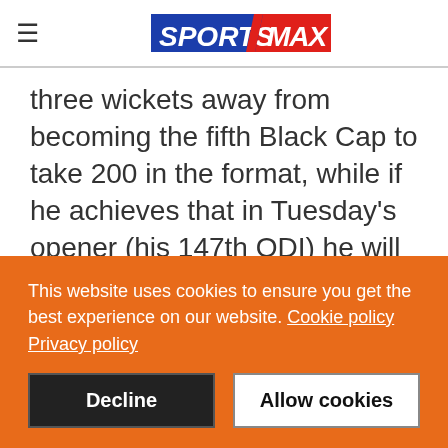SportsMax
three wickets away from becoming the fifth Black Cap to take 200 in the format, while if he achieves that in Tuesday's opener (his 147th ODI) he will be the second-
This website uses cookies to ensure you get the best experience on our website. Cookie policy Privacy policy
Decline
Allow cookies